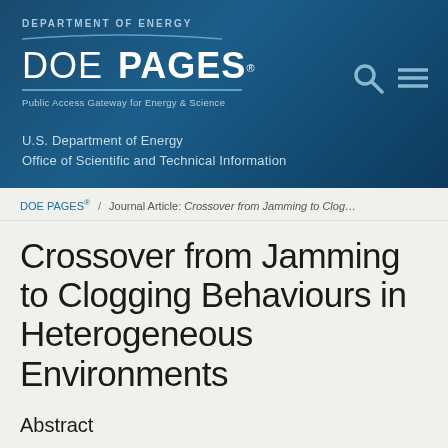DEPARTMENT OF ENERGY DOE PAGES® Public Access Gateway for Energy & Science — U.S. Department of Energy Office of Scientific and Technical Information
DOE PAGES® / Journal Article: Crossover from Jamming to Clog…
Crossover from Jamming to Clogging Behaviours in Heterogeneous Environments
Abstract